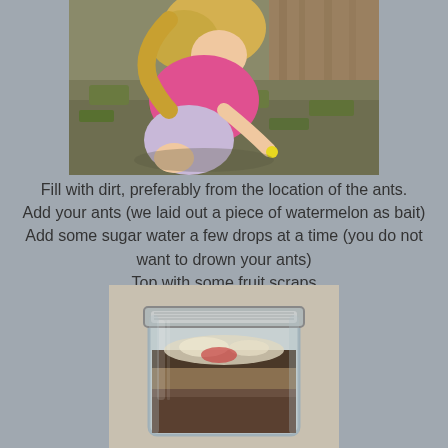[Figure (photo): A young blonde girl in a pink shirt crouching down on dry grass, appearing to examine or collect something from the ground near a wooden structure.]
Fill with dirt, preferably from the location of the ants.
Add your ants (we laid out a piece of watermelon as bait)
Add some sugar water a few drops at a time (you do not want to drown your ants)
Top with some fruit scraps
[Figure (photo): A glass mason jar filled with layers of dirt and sand, with some light-colored material (possibly food scraps or cotton) near the top, sitting on a light surface.]